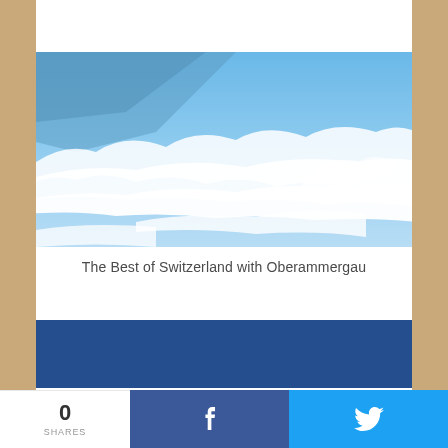[Figure (photo): Aerial photograph of sky and clouds viewed from above, showing blue sky with white clouds below]
The Best of Switzerland with Oberammergau
[Figure (other): Dark blue rectangular banner/block]
0 SHARES